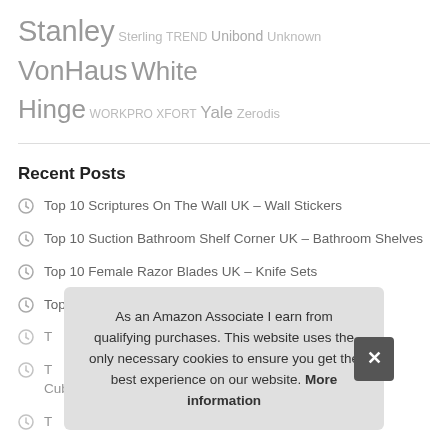Stanley Sterling TREND Unibond Unknown VonHaus White Hinge WORKPRO XFORT Yale Zerodis
Recent Posts
Top 10 Scriptures On The Wall UK – Wall Stickers
Top 10 Suction Bathroom Shelf Corner UK – Bathroom Shelves
Top 10 Female Razor Blades UK – Knife Sets
Top 10 Pink Tools for Ladies UK – Hand Tool Sets
T…
T… Cub…
T…
As an Amazon Associate I earn from qualifying purchases. This website uses the only necessary cookies to ensure you get the best experience on our website. More information